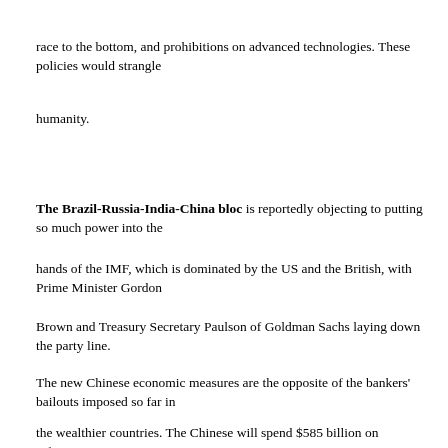race to the bottom, and prohibitions on advanced technologies. These policies would strangle
humanity.
The Brazil-Russia-India-China bloc is reportedly objecting to putting so much power into the
hands of the IMF, which is dominated by the US and the British, with Prime Minister Gordon
Brown and Treasury Secretary Paulson of Goldman Sachs laying down the party line.
The new Chinese economic measures are the opposite of the bankers' bailouts imposed so far in
the wealthier countries. The Chinese will spend $585 billion on infrastructure, transportation,